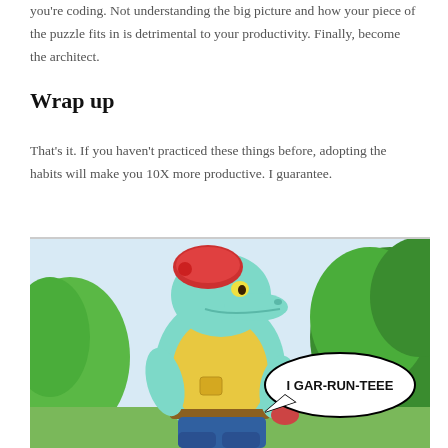you're coding. Not understanding the big picture and how your piece of the puzzle fits in is detrimental to your productivity. Finally, become the architect.
Wrap up
That's it. If you haven't practiced these things before, adopting the habits will make you 10X more productive. I guarantee.
[Figure (illustration): Cartoon illustration of an anthropomorphic crocodile character wearing a red bandana, yellow vest, and blue pants, standing in a jungle setting. A speech bubble reads 'I GAR-RUN-TEEE'.]